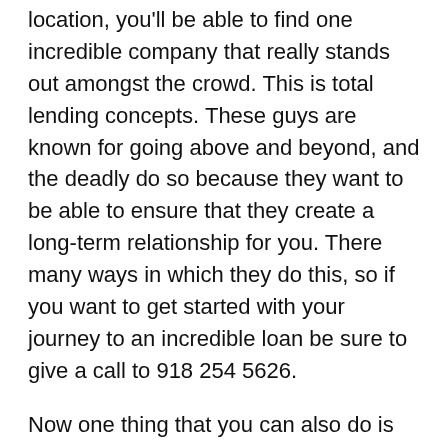location, you'll be able to find one incredible company that really stands out amongst the crowd. This is total lending concepts. These guys are known for going above and beyond, and the deadly do so because they want to be able to ensure that they create a long-term relationship for you. There many ways in which they do this, so if you want to get started with your journey to an incredible loan be sure to give a call to 918 254 5626.
Now one thing that you can also do is go ahead and learn a little bit more about this phenomenal total lending concepts team different to right here on the World Wide Web. Simply put, just go to the pueblomortgages.com you are going to be able to learn all the information about the me everyone to know. The greatest long-term relationship because they want to help you to make the most of the time, and out of your money. And the next time you are designed to get into another home they want to be able to make sure that they are the first people you think back to.